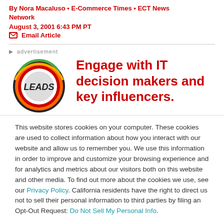By Nora Macaluso • E-Commerce Times • ECT News Network
August 3, 2001 6:43 PM PT
✉ Email Article
advertisement
[Figure (illustration): Circular LEADS logo graphic with colorful rings]
Engage with IT decision makers and key influencers.
This website stores cookies on your computer. These cookies are used to collect information about how you interact with our website and allow us to remember you. We use this information in order to improve and customize your browsing experience and for analytics and metrics about our visitors both on this website and other media. To find out more about the cookies we use, see our Privacy Policy. California residents have the right to direct us not to sell their personal information to third parties by filing an Opt-Out Request: Do Not Sell My Personal Info.